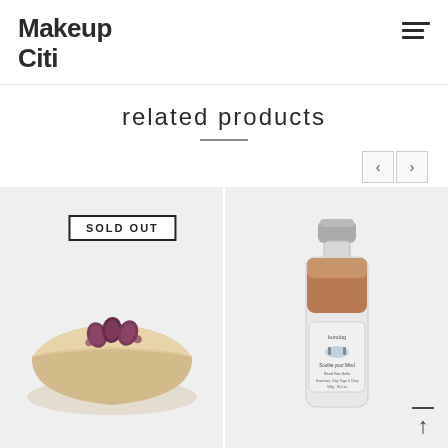Makeup Citi
related products
[Figure (photo): Handmade natural soap bar with dried rose buds on top, shown on white/light grey background with SOLD OUT badge]
[Figure (photo): Glass bottle filled with brown/reddish bath salts, with a label reading 'Soothe your Mind - Dead Sea Salts - Rosemary, Clay, Sage & Clary' on light grey background]